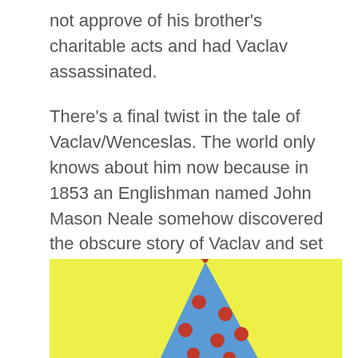not approve of his brother's charitable acts and had Vaclav assassinated.
There's a final twist in the tale of Vaclav/Wenceslas. The world only knows about him now because in 1853 an Englishman named John Mason Neale somehow discovered the obscure story of Vaclav and set it to the tune of an equally unknown Finnish song about the coming of spring, as you do.
[Figure (photo): Yellow background with a blue party hat decorated with red polka dots and orange feathers on top, partially visible at the bottom of the image.]